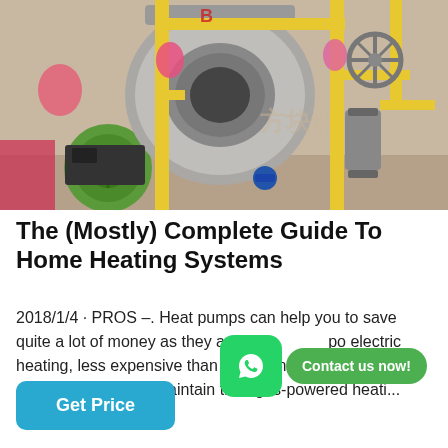[Figure (photo): Industrial boiler system with large cylindrical boiler tanks, yellow gas pipes, valves, and blower units in a workshop/factory setting. Chinese text watermark visible.]
The (Mostly) Complete Guide To Home Heating Systems
2018/1/4 · PROS –. Heat pumps can help you to save quite a lot of money as they are po... electric heating, less expensive than oil heating and can be cheaper to run and maintain than gas-powered heati...